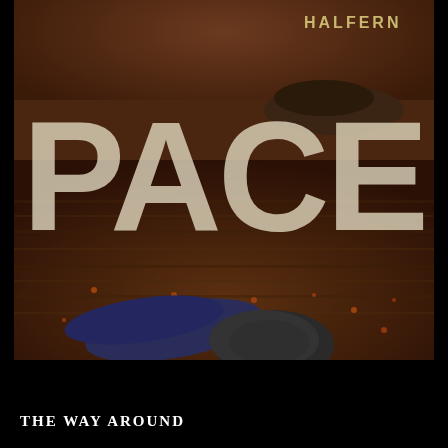[Figure (photo): Book cover showing a person lying face down on a grassy moorland field. Large distressed sans-serif text reads 'PACE' overlaid on the image. Author name 'HALFERN' appears in smaller uppercase text at the top right.]
THE WAY AROUND